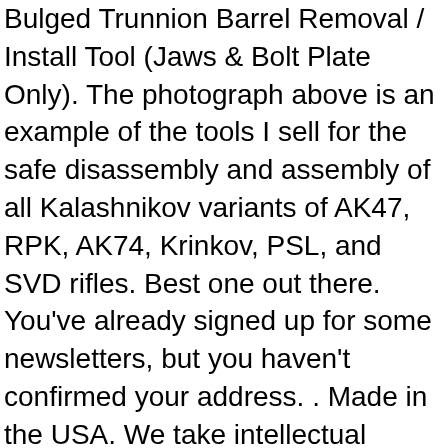Bulged Trunnion Barrel Removal / Install Tool (Jaws & Bolt Plate Only). The photograph above is an example of the tools I sell for the safe disassembly and assembly of all Kalashnikov variants of AK47, RPK, AK74, Krinkov, PSL, and SVD rifles. Best one out there. You've already signed up for some newsletters, but you haven't confirmed your address. . Made in the USA. We take intellectual property concerns very seriously, but many of these problems can be resolved directly by the parties involved. I've used "Obstreperous" dimpling tool on all my AK builds and it works really well. AK CENTER SUPPORT AND RIVET FOR 1MM RECEIVER. Some of the technologies we use are necessary for critical functions like security and site integrity, account authentication, security and privacy preferences, internal site usage and maintenance data, and to make the site work correctly for browsing and transactions. Provides full support to the barrel, receiver and trunnion for barrel removal, installation, and cross-pinning without damage. Riveting Tool. If you'd like to file an allegation of infringement, you'll need to follow the process described in our Copyright and Intellectual Property Policy. Needless to say, M...